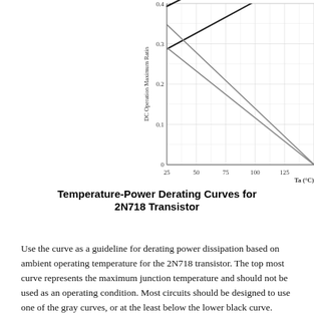[Figure (continuous-plot): Derating curves showing DC Operation Maximum Rating (W) vs Ta (°C) ambient temperature for 2N718 transistor. Multiple curves shown: one top dark curve (maximum junction temperature), two middle gray curves, and one lower dark curve. X-axis: 25, 50, 75, 100, 125. Y-axis: 0, 0.1, 0.2, 0.3, 0.4.]
Temperature-Power Derating Curves for 2N718 Transistor
Use the curve as a guideline for derating power dissipation based on ambient operating temperature for the 2N718 transistor. The top most curve represents the maximum junction temperature and should not be used as an operating condition. Most circuits should be designed to use one of the gray curves, or at the least below the lower black curve.